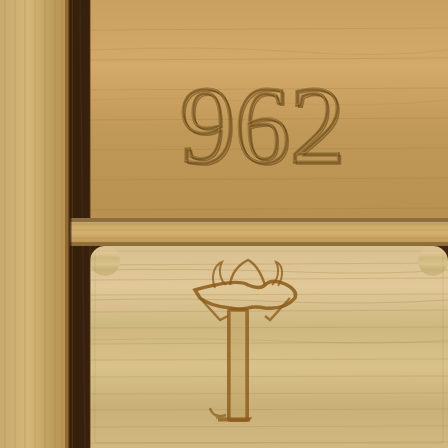[Figure (photo): Close-up photograph of wooden cabinet or locker panels. On the left is a vertical light oak/bamboo wood strip forming a frame edge. The central and right area shows dark walnut-colored wooden frame dividers separating two lighter wood panels. The upper panel (visible partially, cut off at top) is a medium-toned wood with the number '962' carved or engraved into it in large numerals. The lower panel is a lighter, more prominently grained wood with an ornate Gothic/blackletter capital letter 'T' (or possibly a decorative monogram) carved or engraved into it. The dark walnut frame forms a cross/grid pattern separating the panels. A horizontal light wood divider strip crosses between the two panels.]